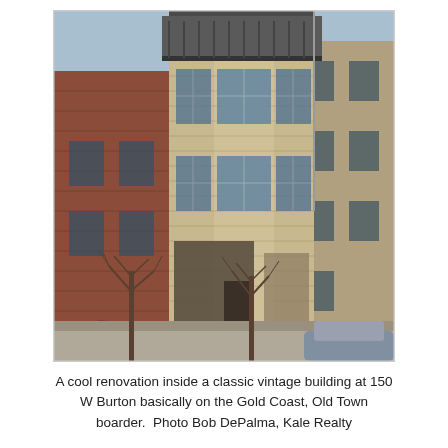[Figure (photo): Exterior photograph of a classic vintage multi-story stone building at 150 W Burton, on the Gold Coast/Old Town border in Chicago. The building features limestone or light-colored stone facade with bay windows on multiple floors and a rooftop balcony. Adjacent red brick building visible on the left, another building on the right. Bare winter trees in front.]
A cool renovation inside a classic vintage building at 150 W Burton basically on the Gold Coast, Old Town boarder.  Photo Bob DePalma, Kale Realty